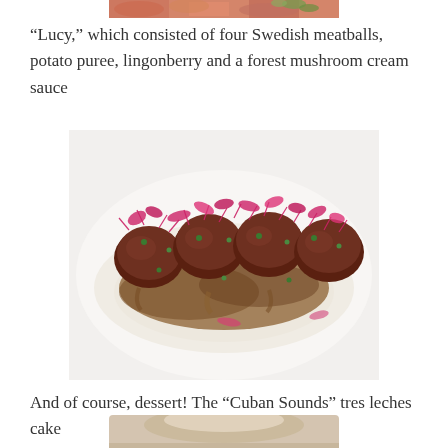[Figure (photo): Partial view of a food dish at top of page, cropped]
“Lucy,” which consisted of four Swedish meatballs, potato puree, lingonberry and a forest mushroom cream sauce
[Figure (photo): Plated dish of four Swedish meatballs on potato puree with mushroom cream sauce, garnished with red microgreens and herbs on a white plate]
And of course, dessert! The “Cuban Sounds” tres leches cake
[Figure (photo): Partial view of tres leches cake dessert, cropped at bottom of page]